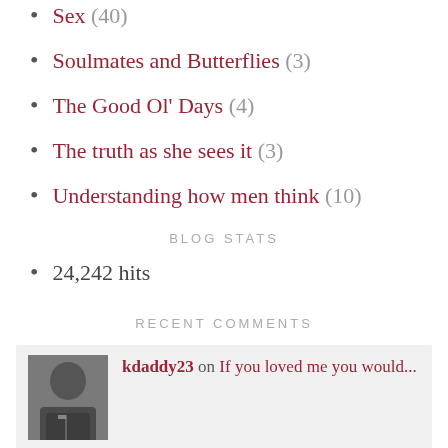Sex (40)
Soulmates and Butterflies (3)
The Good Ol' Days (4)
The truth as she sees it (3)
Understanding how men think (10)
BLOG STATS
24,242 hits
RECENT COMMENTS
kdaddy23 on If you loved me you would...